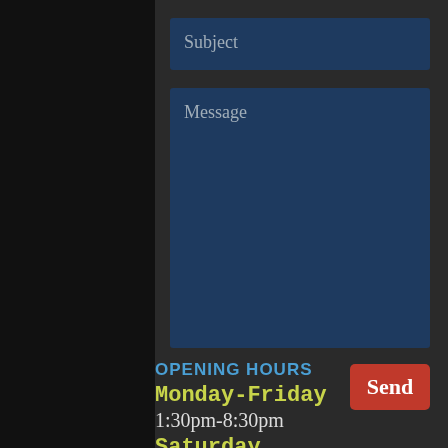Subject
Message
Send
OPENING HOURS
Monday-Friday
1:30pm-8:30pm
Saturday
10:00am-2:00pm
Sunday
CLOSED